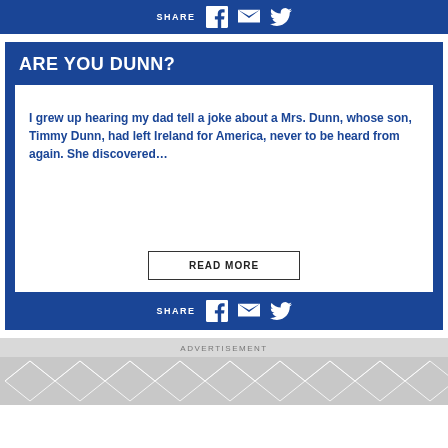SHARE
ARE YOU DUNN?
I grew up hearing my dad tell a joke about a Mrs. Dunn, whose son, Timmy Dunn, had left Ireland for America, never to be heard from again. She discovered…
READ MORE
SHARE
ADVERTISEMENT